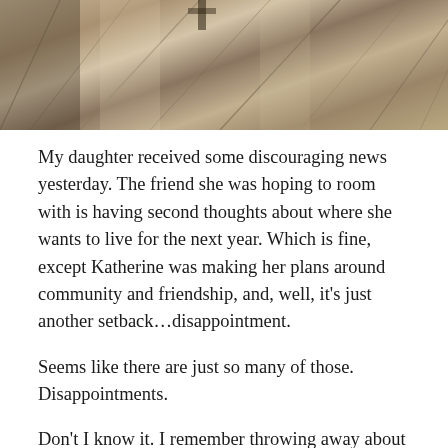[Figure (photo): Outdoor photo showing weathered wooden deck boards/planks with sunlight and shadows, and a small object visible at top]
My daughter received some discouraging news yesterday. The friend she was hoping to room with is having second thoughts about where she wants to live for the next year. Which is fine, except Katherine was making her plans around community and friendship, and, well, it’s just another setback…disappointment.
Seems like there are just so many of those. Disappointments.
Don’t I know it. I remember throwing away about ten to fifteen prayer journals that went back YEARS because they were horrifyingly filled with the exact same prayer requests over and over again that were not answered. It was embarrassing! It was frightening.